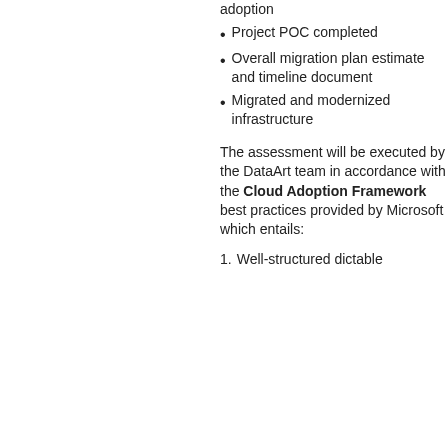adoption
Project POC completed
Overall migration plan estimate and timeline document
Migrated and modernized infrastructure
The assessment will be executed by the DataArt team in accordance with the Cloud Adoption Framework best practices provided by Microsoft which entails:
Well-structured dictable